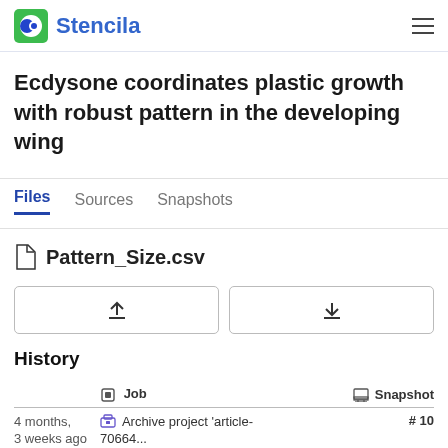Stencila
Ecdysone coordinates plastic growth with robust pattern in the developing wing
Files  Sources  Snapshots
Pattern_Size.csv
History
|  | Job | Snapshot |
| --- | --- | --- |
| 4 months, 3 weeks ago | Archive project 'article-70664... | # 10 |